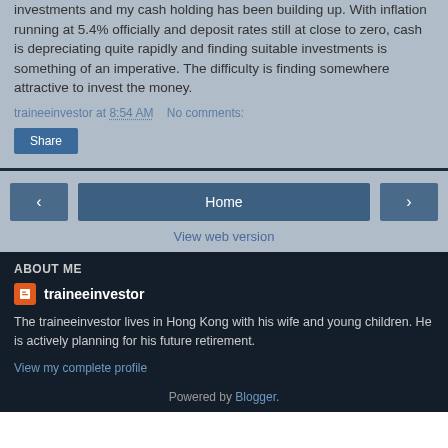investments and my cash holding has been building up. With inflation running at 5.4% officially and deposit rates still at close to zero, cash is depreciating quite rapidly and finding suitable investments is something of an imperative. The difficulty is finding somewhere attractive to invest the money.
traineeinvestor at 8:54 AM   No comments:
Share
< Home >
View web version
ABOUT ME
traineeinvestor
The traineeinvestor lives in Hong Kong with his wife and young children. He is actively planning for his future retirement.
View my complete profile
Powered by Blogger.